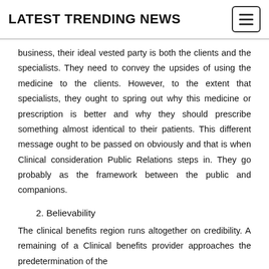LATEST TRENDING NEWS
business, their ideal vested party is both the clients and the specialists. They need to convey the upsides of using the medicine to the clients. However, to the extent that specialists, they ought to spring out why this medicine or prescription is better and why they should prescribe something almost identical to their patients. This different message ought to be passed on obviously and that is when Clinical consideration Public Relations steps in. They go probably as the framework between the public and companions.
2. Believability
The clinical benefits region runs altogether on credibility. A remaining of a Clinical benefits provider approaches the predetermination of the